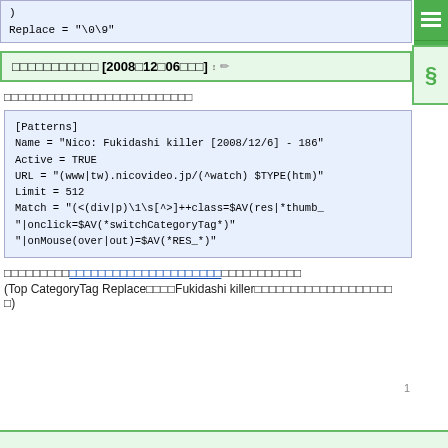Replace = "\0\9"
ニコニコ大百科 [2008年12月06日版]
このパターンはバージョン管理されているためです。
[Patterns]
Name = "Nico: Fukidashi killer [2008/12/6] - 186"
Active = TRUE
URL = "(www|tw).nicovideo.jp/(^watch) $TYPE(htm)"
Limit = 512
Match = "(<(div|p)\1\s[^>]++class=$AV(res|*thumb_
"|onclick=$AV(*switchCategoryTag*)"
"|onMouse(over|out)=$AV(*RES_*)"
このフィルターはTop CategoryTag Replaceを使ってFukidashi killerという名前のフィルターに置き換えられました。
(Top CategoryTag Replaceを使ってFukidashi killerという名前のフィルターに置き換えられました。)